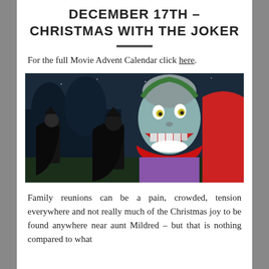DECEMBER 17TH – CHRISTMAS WITH THE JOKER
[Figure (illustration): Animated scene from Batman: The Animated Series showing the Joker with a wide grin facing Batman in a nighttime outdoor setting, with another figure visible to the left.]
For the full Movie Advent Calendar click here.
Family reunions can be a pain, crowded, tension everywhere and not really much of the Christmas joy to be found anywhere near aunt Mildred – but that is nothing compared to what